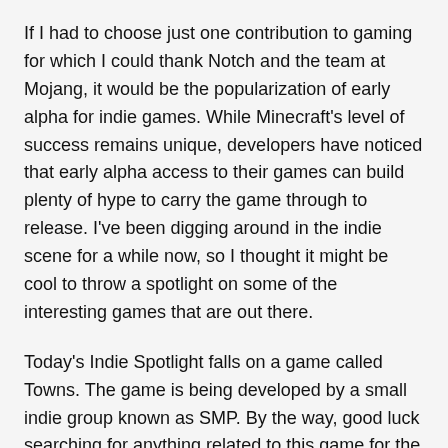If I had to choose just one contribution to gaming for which I could thank Notch and the team at Mojang, it would be the popularization of early alpha for indie games. While Minecraft's level of success remains unique, developers have noticed that early alpha access to their games can build plenty of hype to carry the game through to release. I've been digging around in the indie scene for a while now, so I thought it might be cool to throw a spotlight on some of the interesting games that are out there.
Today's Indie Spotlight falls on a game called Towns. The game is being developed by a small indie group known as SMP. By the way, good luck searching for anything related to this game for the next couple months. Being that Minecraft multiplayer, a system in which players often create their own towns, is called SMP, you're going to get